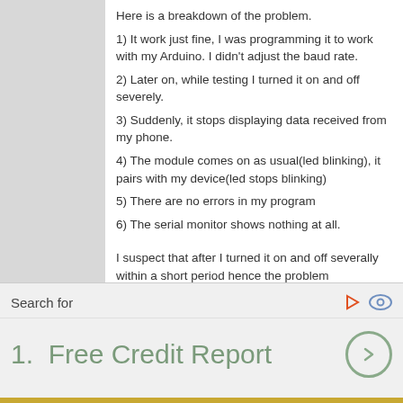Here is a breakdown of the problem.
1) It work just fine, I was programming it to work with my Arduino. I didn't adjust the baud rate.
2) Later on, while testing I turned it on and off severely.
3) Suddenly, it stops displaying data received from my phone.
4) The module comes on as usual(led blinking), it pairs with my device(led stops blinking)
5) There are no errors in my program
6) The serial monitor shows nothing at all.
I suspect that after I turned it on and off severally within a short period hence the problem
Search for
1.  Free Credit Report